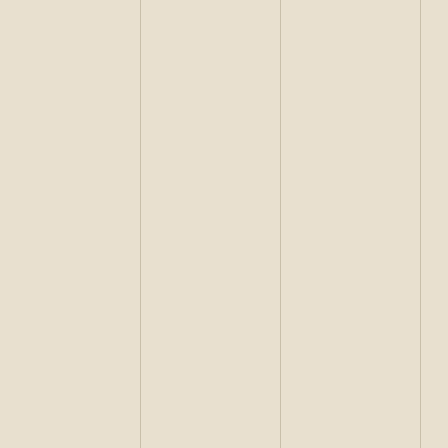w o f o r m u l a t i o n s i s m a i n l y a r h